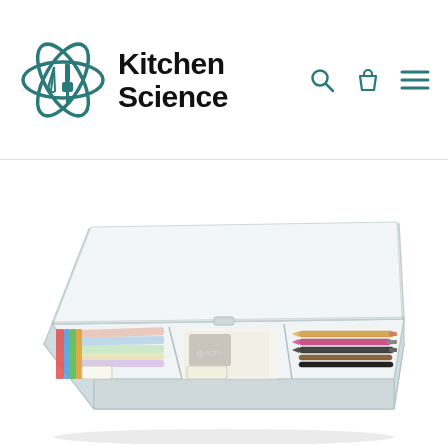[Figure (logo): Kitchen Science logo with atomic/whisk-spatula icon in teal color and bold black text reading Kitchen Science]
[Figure (photo): Clear plastic organizer box with lid open, containing pencils, pens, erasers, a pencil sharpener, and various art/school supplies arranged in compartments]